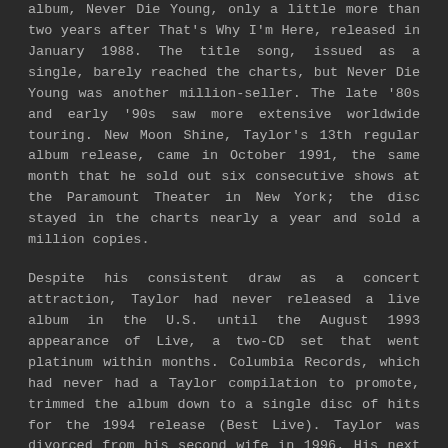album, Never Die Young, only a little more than two years after That's Why I'm Here, released in January 1988. The title song, issued as a single, barely reached the charts, but Never Die Young was another million-seller. The late '80s and early '90s saw more extensive worldwide touring. New Moon Shine, Taylor's 13th regular album release, came in October 1991, the same month that he sold out six consecutive shows at the Paramount Theater in New York; the disc stayed in the charts nearly a year and sold a million copies.
Despite his consistent draw as a concert attraction, Taylor had never released a live album in the U.S. until the August 1993 appearance of Live, a two-CD set that went platinum within months. Columbia Records, which had never had a Taylor compilation to promote, trimmed the album down to a single disc of hits for the 1994 release (Best Live). Taylor was divorced from his second wife in 1996. His next album, Hourglass, released in May 1997, demonstrated his continuing appeal by entering the charts in the Top Ten. On February 25, 1998, it won the 1997 Grammy for Best Pop Album. In October the same year, Columbia issued the DVD Live at the Beacon Theatre while Billboard